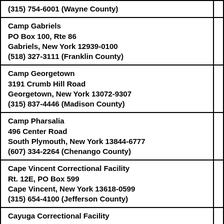(315) 754-6001 (Wayne County)
Camp Gabriels
PO Box 100, Rte 86
Gabriels, New York 12939-0100
(518) 327-3111 (Franklin County)
Camp Georgetown
3191 Crumb Hill Road
Georgetown, New York 13072-9307
(315) 837-4446 (Madison County)
Camp Pharsalia
496 Center Road
South Plymouth, New York 13844-6777
(607) 334-2264 (Chenango County)
Cape Vincent Correctional Facility
Rt. 12E, PO Box 599
Cape Vincent, New York 13618-0599
(315) 654-4100 (Jefferson County)
Cayuga Correctional Facility
P.O. Box 1150, Rt 38A
Moravia, New York 13118-1150
(315) 497-1110 (Cayuga County)